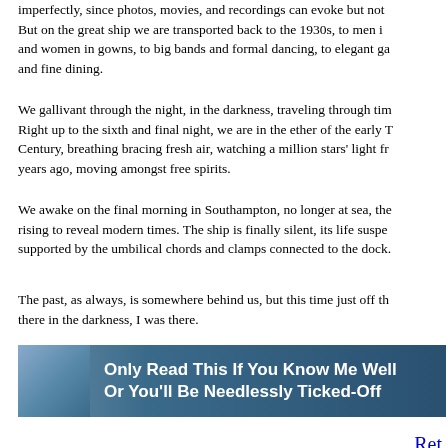imperfectly, since photos, movies, and recordings can evoke but not But on the great ship we are transported back to the 1930s, to men i and women in gowns, to big bands and formal dancing, to elegant ga and fine dining.
We gallivant through the night, in the darkness, traveling through tim Right up to the sixth and final night, we are in the ether of the early T Century, breathing bracing fresh air, watching a million stars' light fr years ago, moving amongst free spirits.
We awake on the final morning in Southampton, no longer at sea, the rising to reveal modern times. The ship is finally silent, its life suspe supported by the umbilical chords and clamps connected to the dock.
The past, as always, is somewhere behind us, but this time just off th there in the darkness, I was there.
[Figure (illustration): Banner image with book graphic on the left and white bold text reading 'Only Read This If You Know Me Well Or You'll Be Needlessly Ticked-Off' on a dark blue background.]
Ret
I called the butler to our suite on the Queen Mary to tie my tuxedo bo since I've never mastered the trait. My wife kept rolling her eyes, but ceremony was completed in about 10 minutes.